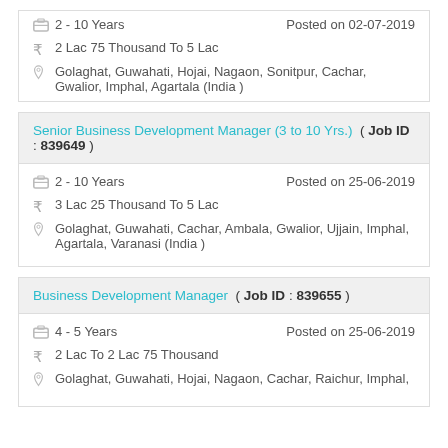2 - 10 Years   Posted on 02-07-2019
2 Lac 75 Thousand To 5 Lac
Golaghat, Guwahati, Hojai, Nagaon, Sonitpur, Cachar, Gwalior, Imphal, Agartala (India )
Senior Business Development Manager (3 to 10 Yrs.)  ( Job ID : 839649 )
2 - 10 Years   Posted on 25-06-2019
3 Lac 25 Thousand To 5 Lac
Golaghat, Guwahati, Cachar, Ambala, Gwalior, Ujjain, Imphal, Agartala, Varanasi (India )
Business Development Manager  ( Job ID : 839655 )
4 - 5 Years   Posted on 25-06-2019
2 Lac To 2 Lac 75 Thousand
Golaghat, Guwahati, Hojai, Nagaon, Cachar, Raichur, Imphal,